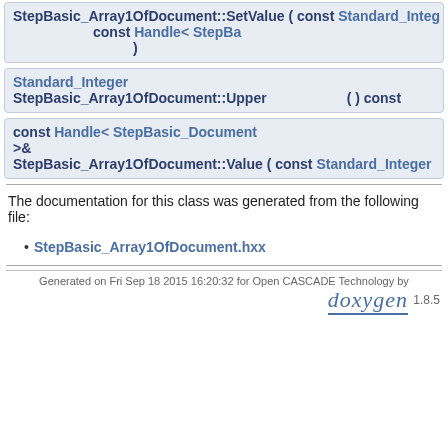StepBasic_Array1OfDocument::SetValue ( const Standard_Integ
                                            const Handle< StepBa
                                          )
Standard_Integer
StepBasic_Array1OfDocument::Upper  ( ) const
const Handle< StepBasic_Document
>&
StepBasic_Array1OfDocument::Value ( const Standard_Integer
The documentation for this class was generated from the following file:
StepBasic_Array1OfDocument.hxx
Generated on Fri Sep 18 2015 16:20:32 for Open CASCADE Technology by doxygen 1.8.5